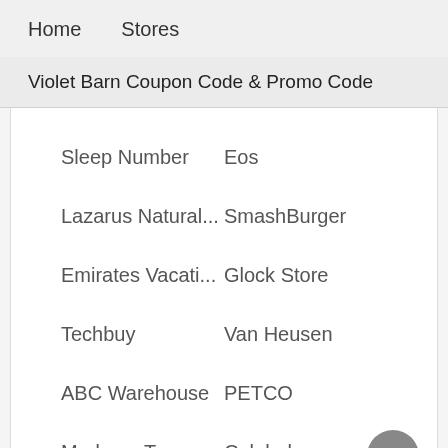Home    Stores
Violet Barn Coupon Code & Promo Code
Sleep Number
Eos
Lazarus Natural...
SmashBurger
Emirates Vacati...
Glock Store
Techbuy
Van Heusen
ABC Warehouse
PETCO
Madame Tussa...
Calphalon